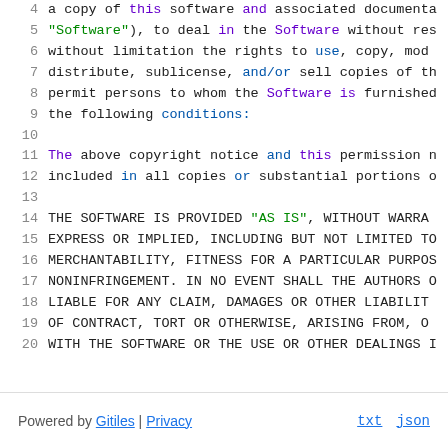4   a copy of this software and associated documenta...
5   "Software"), to deal in the Software without res...
6   without limitation the rights to use, copy, mod...
7   distribute, sublicense, and/or sell copies of th...
8   permit persons to whom the Software is furnished...
9   the following conditions:
10  
11  The above copyright notice and this permission n...
12  included in all copies or substantial portions o...
13  
14  THE SOFTWARE IS PROVIDED "AS IS", WITHOUT WARRA...
15  EXPRESS OR IMPLIED, INCLUDING BUT NOT LIMITED TO...
16  MERCHANTABILITY, FITNESS FOR A PARTICULAR PURPOS...
17  NONINFRINGEMENT. IN NO EVENT SHALL THE AUTHORS O...
18  LIABLE FOR ANY CLAIM, DAMAGES OR OTHER LIABILIT...
19  OF CONTRACT, TORT OR OTHERWISE, ARISING FROM, O...
20  WITH THE SOFTWARE OR THE USE OR OTHER DEALINGS I...
Powered by Gitiles | Privacy   txt   json